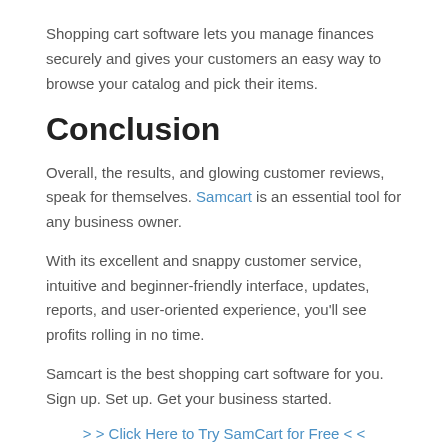Shopping cart software lets you manage finances securely and gives your customers an easy way to browse your catalog and pick their items.
Conclusion
Overall, the results, and glowing customer reviews, speak for themselves. Samcart is an essential tool for any business owner.
With its excellent and snappy customer service, intuitive and beginner-friendly interface, updates, reports, and user-oriented experience, you'll see profits rolling in no time.
Samcart is the best shopping cart software for you. Sign up. Set up. Get your business started.
> > Click Here to Try SamCart for Free < <